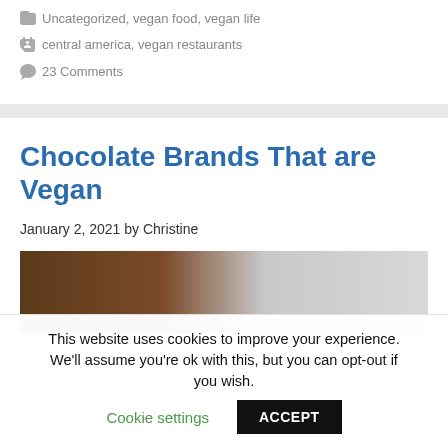Uncategorized, vegan food, vegan life
central america, vegan restaurants
23 Comments
Chocolate Brands That are Vegan
January 2, 2021 by Christine
[Figure (photo): Close-up photo of dark chocolate pieces on a light background]
This website uses cookies to improve your experience. We'll assume you're ok with this, but you can opt-out if you wish. Cookie settings ACCEPT